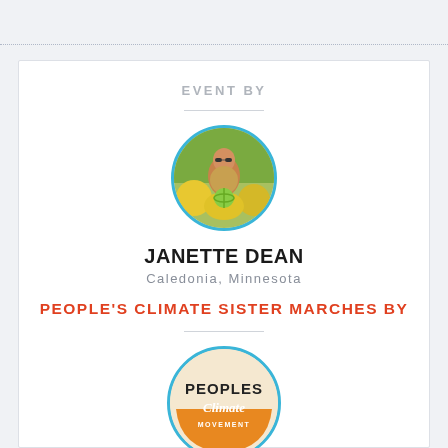EVENT BY
[Figure (photo): Circular profile photo of Janette Dean with blue border, person crouching outdoors among yellow flowers holding a green globe]
JANETTE DEAN
Caledonia, Minnesota
PEOPLE'S CLIMATE SISTER MARCHES BY
[Figure (logo): Peoples Climate Movement circular logo with blue border, orange lower half, text PEOPLES Climate MOVEMENT]
PEOPLES CLIMATE MOVEMENT